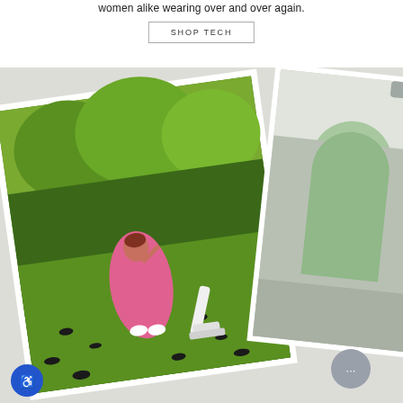women alike wearing over and over again.
SHOP TECH
[Figure (photo): A collage of two photos: left photo shows a woman in a pink dress on a green lawn surrounded by black birds and a white vacuum cleaner, rotated slightly counter-clockwise; right photo shows an interior room with an arched window, rotated slightly clockwise. Both photos have white borders like prints. A circular chat bubble icon and accessibility icon are visible.]